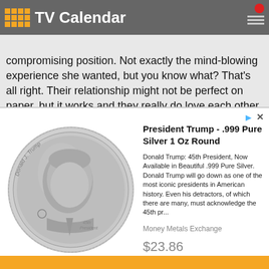TV Calendar
...ending later, they end up in the ER. Ann gets a compromising position. Not exactly the mind-blowing experience she wanted, but you know what? That's all right. Their relationship might not be perfect on paper, but it works and they really do love each other.
[Figure (photo): Advertisement showing a Donald J. Trump commemorative silver coin (.999 Pure Silver 1 Oz Round) with Trump's profile. Ad text: 'President Trump - .999 Pure Silver 1 Oz Round. Donald Trump: 45th President, Now Available in Beautiful .999 Pure Silver. Donald Trump will go down as one of the most iconic presidents in American history. Even his detractors, of which there are many, must acknowledge the 45th pr...' Seller: Money Metals Exchange. Price: $23.86]